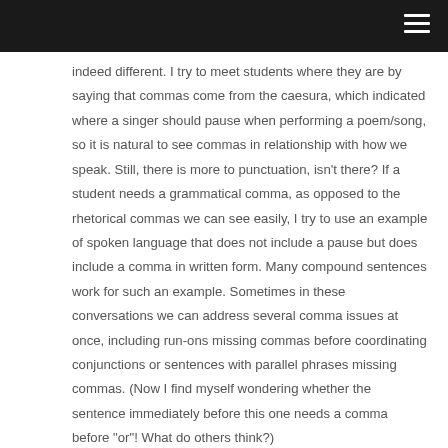indeed different. I try to meet students where they are by saying that commas come from the caesura, which indicated where a singer should pause when performing a poem/song, so it is natural to see commas in relationship with how we speak. Still, there is more to punctuation, isn't there? If a student needs a grammatical comma, as opposed to the rhetorical commas we can see easily, I try to use an example of spoken language that does not include a pause but does include a comma in written form. Many compound sentences work for such an example. Sometimes in these conversations we can address several comma issues at once, including run-ons missing commas before coordinating conjunctions or sentences with parallel phrases missing commas. (Now I find myself wondering whether the sentence immediately before this one needs a comma before "or"! What do others think?)